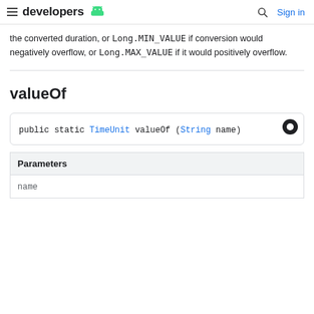developers
the converted duration, or Long.MIN_VALUE if conversion would negatively overflow, or Long.MAX_VALUE if it would positively overflow.
valueOf
public static TimeUnit valueOf (String name)
| Parameters |
| --- |
| name |